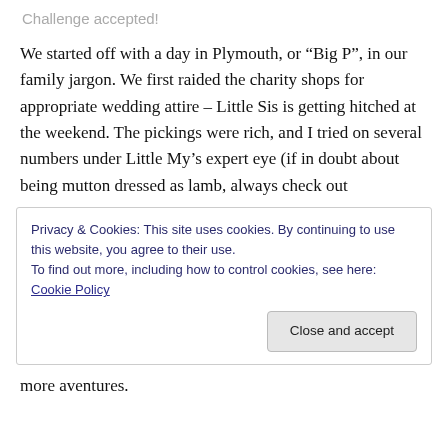Challenge accepted!
We started off with a day in Plymouth, or “Big P”, in our family jargon. We first raided the charity shops for appropriate wedding attire – Little Sis is getting hitched at the weekend. The pickings were rich, and I tried on several numbers under Little My’s expert eye (if in doubt about being mutton dressed as lamb, always check out
Privacy & Cookies: This site uses cookies. By continuing to use this website, you agree to their use.
To find out more, including how to control cookies, see here: Cookie Policy
[Close and accept]
more aventures.